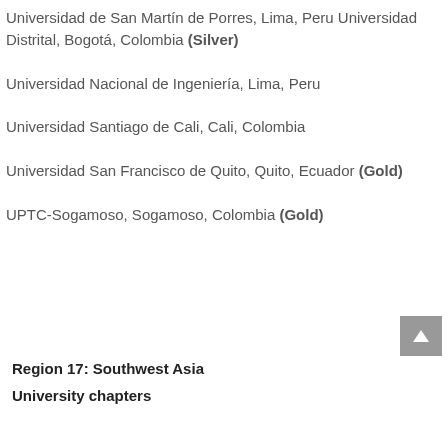Universidad de San Martín de Porres, Lima, Peru Universidad Distrital, Bogotá, Colombia (Silver)
Universidad Nacional de Ingeniería, Lima, Peru
Universidad Santiago de Cali, Cali, Colombia
Universidad San Francisco de Quito, Quito, Ecuador (Gold)
UPTC-Sogamoso, Sogamoso, Colombia (Gold)
Region 17: Southwest Asia
University chapters